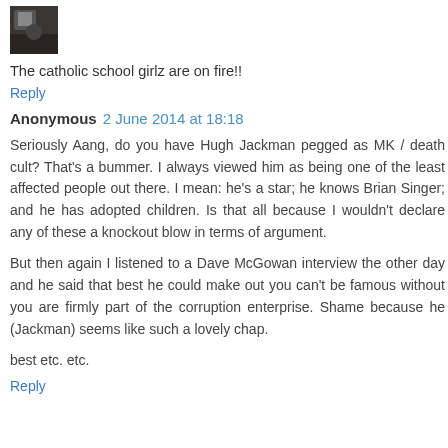[Figure (photo): Small avatar thumbnail image, dark tones]
The catholic school girlz are on fire!!
Reply
Anonymous 2 June 2014 at 18:18
Seriously Aang, do you have Hugh Jackman pegged as MK / death cult? That's a bummer. I always viewed him as being one of the least affected people out there. I mean: he's a star; he knows Brian Singer; and he has adopted children. Is that all because I wouldn't declare any of these a knockout blow in terms of argument.
But then again I listened to a Dave McGowan interview the other day and he said that best he could make out you can't be famous without you are firmly part of the corruption enterprise. Shame because he (Jackman) seems like such a lovely chap.
best etc. etc.
Reply